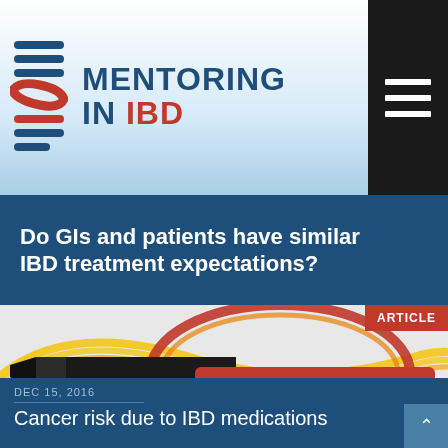[Figure (logo): Mentoring in IBD logo with stacked horizontal lines icon and text 'MENTORING IN IBD']
[Figure (infographic): Article thumbnail with colorful guitar-like swirling lines in yellow, orange, red around a dark cylindrical object, with red banner reading MENTORING. Red ARTICLE badge in top right corner.]
Do GIs and patients have similar IBD treatment expectations?
DEC 15, 2016
Cancer risk due to IBD medications